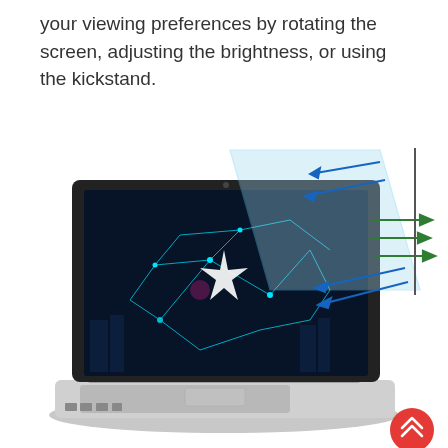your viewing preferences by rotating the screen, adjusting the brightness, or using the kickstand.
[Figure (illustration): A laptop computer with a vivid blue network/digital city graphic on the screen, with blue and green arrows showing light ray reflections bouncing off a transparent panel (anti-glare screen protector concept). A red circular FAB button with double up-chevron is in the bottom-right corner.]